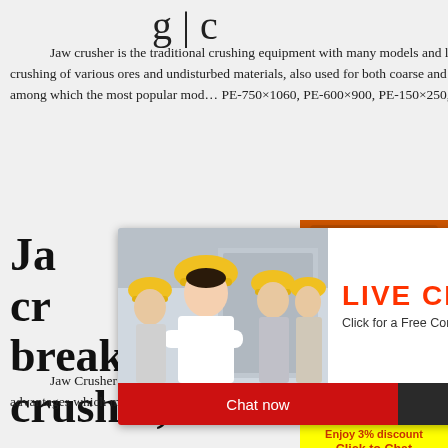g | c (partial title visible)
Jaw crusher is the traditional crushing equipment with many models and large output. PE jaw crusher is mainly used for primary crushing of various ores and undisturbed materials, also used for both coarse and fine crushing. There are many models of PE jaw crushers, among which the most popular models are PE-750×1060, PE-600×900, PE-150×250, etc.
Jaw crusher,Rock breakers,Stone crusher,Rock ...
[Figure (photo): Live chat popup with workers in hard hats and LIVE CHAT Click for a Free Consultation with Chat now / Chat later buttons]
[Figure (photo): Right sidebar advertisement with orange background showing crushing machines, Enjoy 3% discount, Click to Chat, Enquiry, limingjlmofen@sina.com]
Jaw Crusher is a kind of Stone crusher, and jaw crusher is also called Rock crusher. This series of jaw crushers have many advantages which mainly used in breaking a variety of ore and the medium-size chunk of